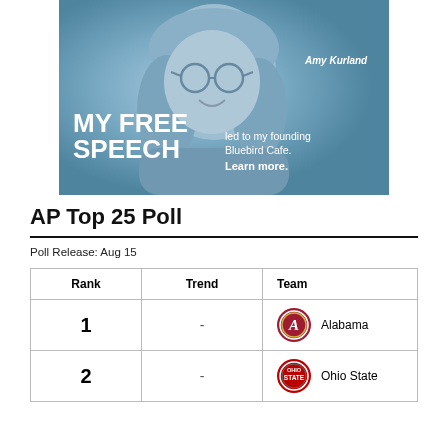[Figure (photo): Advertisement banner with a woman (Amy Kurland) in blue-tinted photo. Text reads: 'MY FREE SPEECH led to my founding Bluebird Cafe. Learn more.']
AP Top 25 Poll
Poll Release: Aug 15
| Rank | Trend | Team |
| --- | --- | --- |
| 1 | - | Alabama |
| 2 | - | Ohio State |